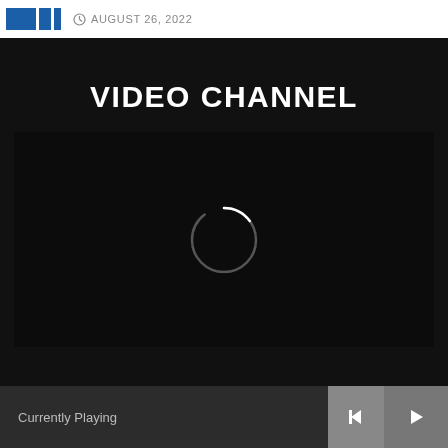AUGUST 26, 2022
VIDEO CHANNEL
[Figure (screenshot): Video player with loading spinner (circular arc) on dark background]
Currently Playing